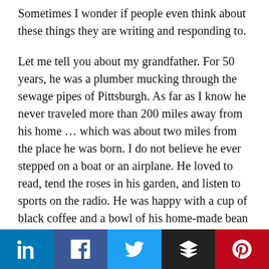Sometimes I wonder if people even think about these things they are writing and responding to.
Let me tell you about my grandfather. For 50 years, he was a plumber mucking through the sewage pipes of Pittsburgh. As far as I know he never traveled more than 200 miles away from his home … which was about two miles from the place he was born. I do not believe he ever stepped on a boat or an airplane. He loved to read, tend the roses in his garden, and listen to sports on the radio. He was happy with a cup of black coffee and a bowl of his home-made bean soup.
If you asked my grandfather about his latest “daring
[Figure (other): Social media sharing bar with LinkedIn, Facebook, Twitter, Layers, and Pinterest buttons]